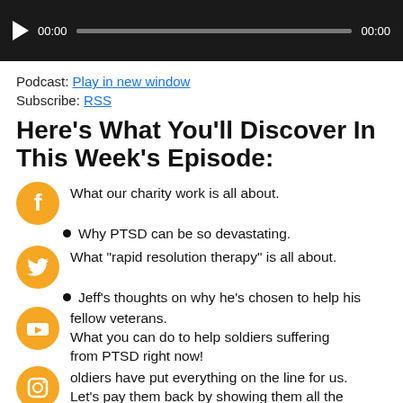[Figure (screenshot): Audio player with dark background, play button, time display 00:00 on both sides, and progress bar]
Podcast: Play in new window
Subscribe: RSS
Here’s What You’ll Discover In This Week’s Episode:
What our charity work is all about.
Why PTSD can be so devastating.
What “rapid resolution therapy” is all about.
Jeff’s thoughts on why he’s chosen to help his fellow veterans.
What you can do to help soldiers suffering from PTSD right now!
Soldiers have put everything on the line for us. Let’s pay them back by showing them all the support we can.